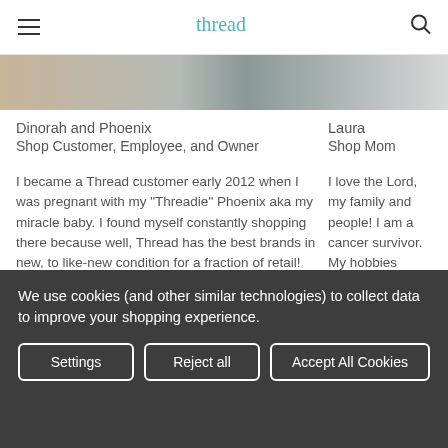Thread (logo) — hamburger menu and search icon
[Figure (photo): Partial image strip showing blurred fabric or clothing items]
Dinorah and Phoenix
Shop Customer, Employee, and Owner
Laura
Shop Mom
I became a Thread customer early 2012 when I was pregnant with my "Threadie" Phoenix aka my miracle baby. I found myself constantly shopping there because well, Thread has the best brands in new, to like-new condition for a fraction of retail!
I love the Lord, my family and people! I am a cancer survivor. My hobbies include gardening, church, sewing,
Phoenix decided to grace us with his presence on day one of my 24 weeks of pregnancy (six months pregnant). I remember I had just shopped
and helping
We use cookies (and other similar technologies) to collect data to improve your shopping experience.
Settings | Reject all | Accept All Cookies